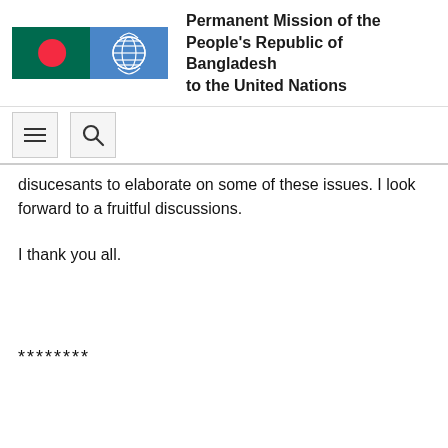Permanent Mission of the People's Republic of Bangladesh to the United Nations
disucesants to elaborate on some of these issues. I look forward to a fruitful discussions.
I thank you all.
********